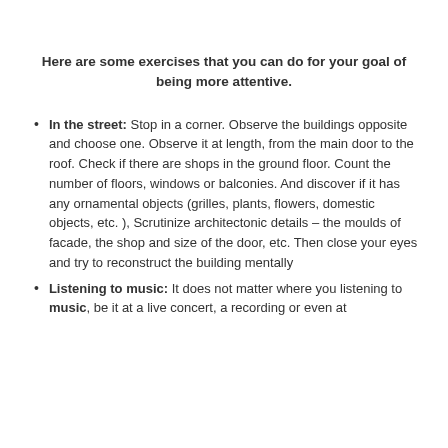Here are some exercises that you can do for your goal of being more attentive.
In the street: Stop in a corner. Observe the buildings opposite and choose one. Observe it at length, from the main door to the roof. Check if there are shops in the ground floor. Count the number of floors, windows or balconies. And discover if it has any ornamental objects (grilles, plants, flowers, domestic objects, etc. ), Scrutinize architectonic details – the moulds of facade, the shop and size of the door, etc. Then close your eyes and try to reconstruct the building mentally
Listening to music: It does not matter where you listening to music, be it at a live concert, a recording or even at